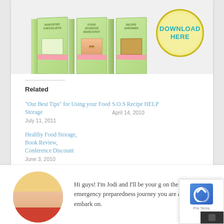[Figure (illustration): Three green book covers with pink binding bars and a yellow circular download button with teal text reading DOWNLOAD HERE]
Related
"Our Best Tips" for Using your Food Storage
July 11, 2011
S.O.S Recipe HELP
April 14, 2010
Healthy Food Storage, Book Review, Conference Discount
June 3, 2010
Hi guys! I'm Jodi and I'll be your g on the emergency preparedness journey you are about to embark on.